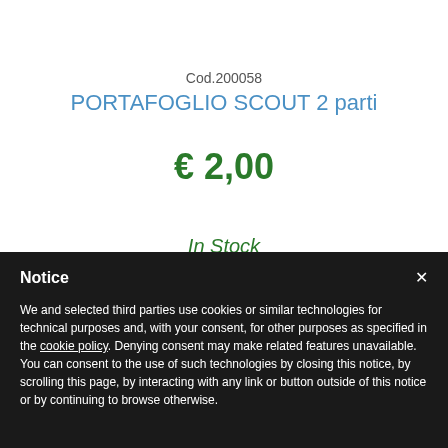Cod.200058
PORTAFOGLIO SCOUT 2 parti
€ 2,00
In Stock
Notice
We and selected third parties use cookies or similar technologies for technical purposes and, with your consent, for other purposes as specified in the cookie policy. Denying consent may make related features unavailable.
You can consent to the use of such technologies by closing this notice, by scrolling this page, by interacting with any link or button outside of this notice or by continuing to browse otherwise.